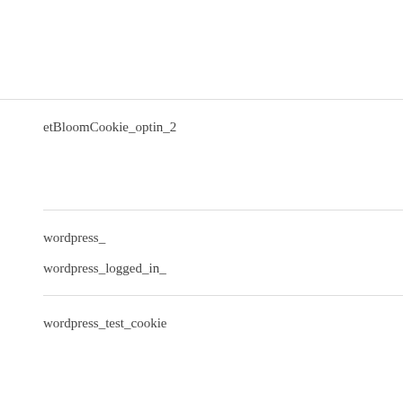etBloomCookie_optin_2
wordpress_
wordpress_logged_in_
wordpress_test_cookie